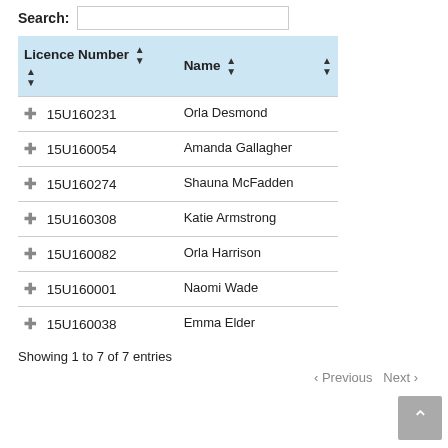Search:
| Licence Number | Name |  |
| --- | --- | --- |
| 15U160231 | Orla Desmond |  |
| 15U160054 | Amanda Gallagher |  |
| 15U160274 | Shauna McFadden |  |
| 15U160308 | Katie Armstrong |  |
| 15U160082 | Orla Harrison |  |
| 15U160001 | Naomi Wade |  |
| 15U160038 | Emma Elder |  |
Showing 1 to 7 of 7 entries
‹ Previous  Next ›